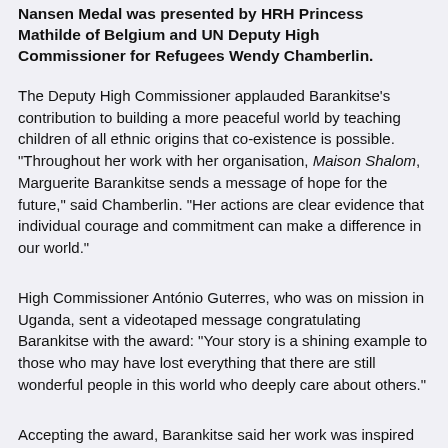Nansen Medal was presented by HRH Princess Mathilde of Belgium and UN Deputy High Commissioner for Refugees Wendy Chamberlin.
The Deputy High Commissioner applauded Barankitse's contribution to building a more peaceful world by teaching children of all ethnic origins that co-existence is possible. "Throughout her work with her organisation, Maison Shalom, Marguerite Barankitse sends a message of hope for the future," said Chamberlin. "Her actions are clear evidence that individual courage and commitment can make a difference in our world."
High Commissioner António Guterres, who was on mission in Uganda, sent a videotaped message congratulating Barankitse with the award: "Your story is a shining example to those who may have lost everything that there are still wonderful people in this world who deeply care about others."
Accepting the award, Barankitse said her work was inspired by one single goal: peace. "Accept your fellow man, sit down together, make this world a world of brothers and sisters," she said.